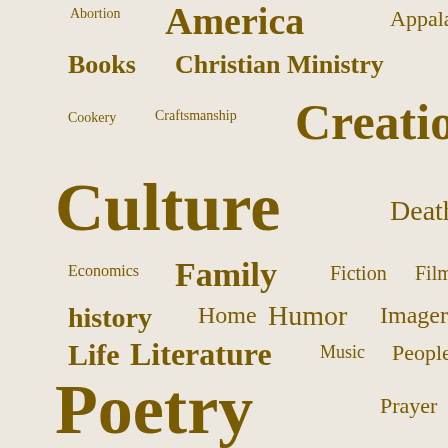[Figure (infographic): Word cloud featuring topics such as America, Culture, Poetry, Scripture, Creation, Family, Hiking, Literature, and others in varying font sizes on a beige background, rendered in brown/golden tones.]